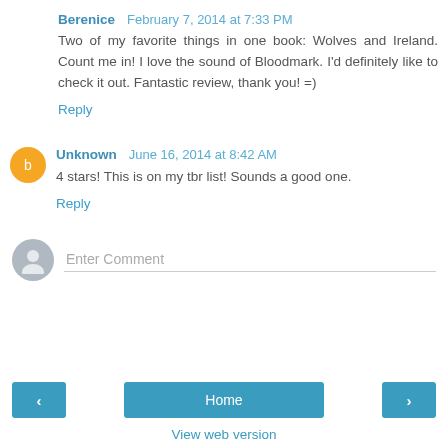Berenice  February 7, 2014 at 7:33 PM
Two of my favorite things in one book: Wolves and Ireland. Count me in! I love the sound of Bloodmark. I'd definitely like to check it out. Fantastic review, thank you! =)
Reply
Unknown  June 16, 2014 at 8:42 AM
4 stars! This is on my tbr list! Sounds a good one.
Reply
Enter Comment
Home
View web version